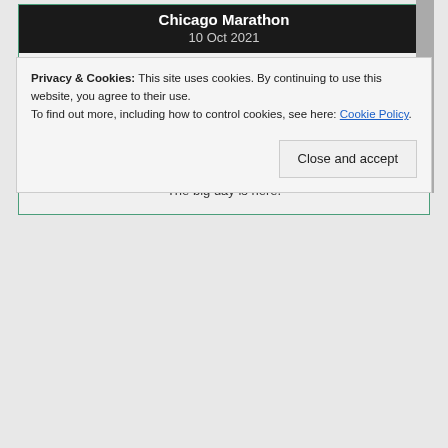Chicago Marathon
10 Oct 2021
The big day is here.
Bath Half
13 Mar 2022
The big day is here.
Privacy & Cookies: This site uses cookies. By continuing to use this website, you agree to their use.
To find out more, including how to control cookies, see here: Cookie Policy
Close and accept